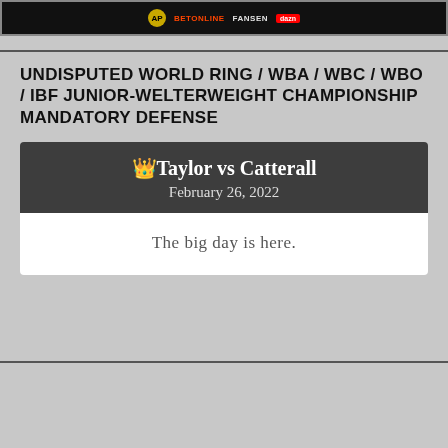[Figure (screenshot): Dark banner with AP logo, BetOnline, Fanmag/Fansen, and DAZN sponsor logos on black background]
UNDISPUTED WORLD RING / WBA / WBC / WBO / IBF JUNIOR-WELTERWEIGHT CHAMPIONSHIP MANDATORY DEFENSE
👑Taylor vs Catterall February 26, 2022
The big day is here.